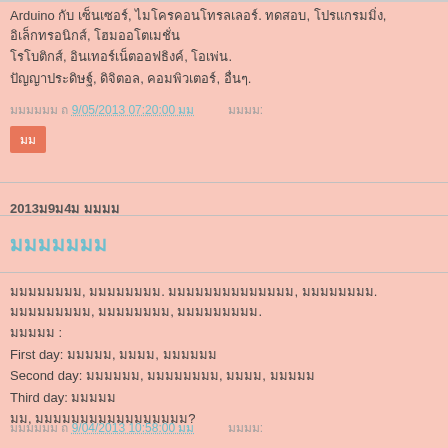Arduino กับ เซ็นเซอร์, ไมโครคอนโทรลเลอร์. ทดสอบ, โปรแกรมมิ่ง, อิเล็กทรอนิกส์, โฮมออโตเมชั่น, โรโบติกส์, อินเทอร์เน็ตออฟธิงค์, โอเพ่น. ปัญญาประดิษฐ์, ดิจิตอล, คอมพิวเตอร์, อื่นๆ.
โพสโดย ถึง 9/05/2013 07:20:00 ก่อน นอน: ไม่มี
2013ม9ม4ม มเมม
มมมมมมม
มมมมมมมม, มมมมมมมม. มมมมมมมมมมมมมม, มมมมมมมม. มมมมมมมมม, มมมมมมมม, มมมมมมมมม. มมมมม : First day: มมมมม, มมมม, มมมมมม Second day: มมมมมม, มมมมมมมม, มมมม, มมมมม Third day: มมมมม มม, มมมมมมมมมมมมมมมมม?
มมมมมม ถึง 9/04/2013 10:58:00 ก่อน มมมม: มมมม